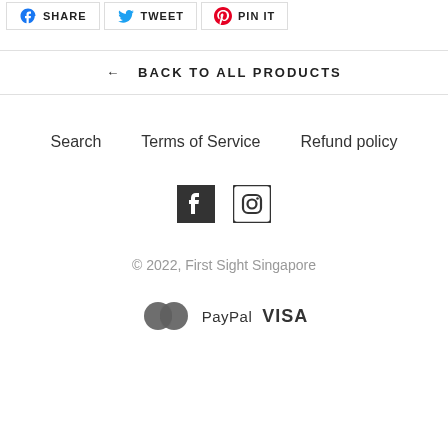[Figure (other): Share buttons: Facebook SHARE, Twitter TWEET, Pinterest PIN IT]
← BACK TO ALL PRODUCTS
Search   Terms of Service   Refund policy
[Figure (other): Social media icons: Facebook and Instagram]
© 2022, First Sight Singapore
[Figure (other): Payment logos: Mastercard, PayPal, VISA]